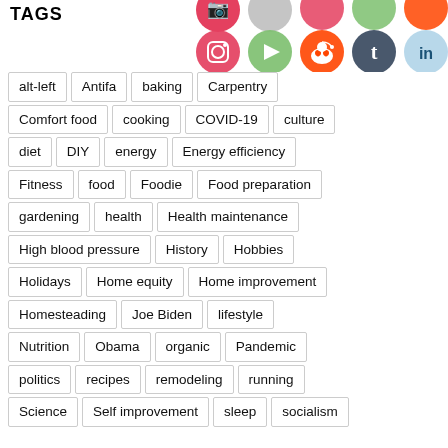TAGS
[Figure (illustration): Social media icons: Instagram, Triller/Cursor, Reddit, Tumblr, LinkedIn arranged in two rows at top right]
alt-left
Antifa
baking
Carpentry
Comfort food
cooking
COVID-19
culture
diet
DIY
energy
Energy efficiency
Fitness
food
Foodie
Food preparation
gardening
health
Health maintenance
High blood pressure
History
Hobbies
Holidays
Home equity
Home improvement
Homesteading
Joe Biden
lifestyle
Nutrition
Obama
organic
Pandemic
politics
recipes
remodeling
running
Science
Self improvement
sleep
socialism